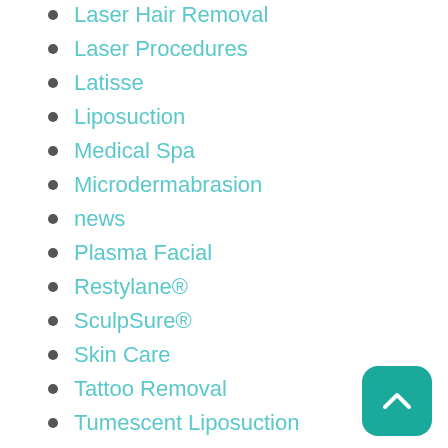Laser Hair Removal
Laser Procedures
Latisse
Liposuction
Medical Spa
Microdermabrasion
news
Plasma Facial
Restylane®
SculpSure®
Skin Care
Tattoo Removal
Tumescent Liposuction
Uncategorized
Video